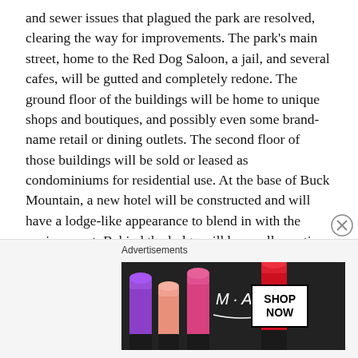and sewer issues that plagued the park are resolved, clearing the way for improvements. The park's main street, home to the Red Dog Saloon, a jail, and several cafes, will be gutted and completely redone. The ground floor of the buildings will be home to unique shops and boutiques, and possibly even some brand-name retail or dining outlets. The second floor of those buildings will be sold or leased as condominiums for residential use. At the base of Buck Mountain, a new hotel will be constructed and will have a lodge-like appearance to blend in with the environment. Behind the lodge will be small vacation rental cottages. There is no word yet on what will become of the original rides. There are rumors of the addition of a Ferris wheel.
[Figure (other): MAC cosmetics advertisement banner showing lipsticks in purple, peach, pink shades on dark background with MAC logo and SHOP NOW button]